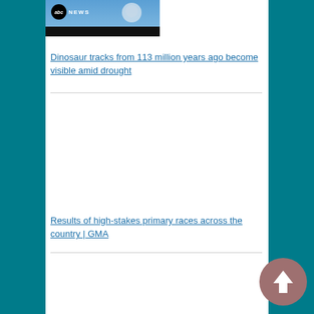[Figure (screenshot): ABC News video thumbnail showing a snowy owl or bird against a blue sky, with ABC NEWS logo overlay and black bar at bottom]
Dinosaur tracks from 113 million years ago become visible amid drought
[Figure (photo): Blank white area representing a video thumbnail placeholder]
Results of high-stakes primary races across the country | GMA